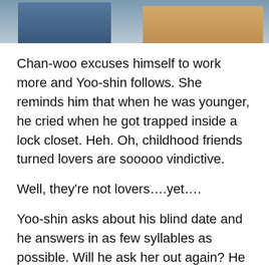[Figure (photo): Partial photo strip at top of page showing two people, one in a blue shirt on the left and one in a beige/tan outfit on the right, cropped at torso level.]
Chan-woo excuses himself to work more and Yoo-shin follows. She reminds him that when he was younger, he cried when he got trapped inside a lock closet. Heh. Oh, childhood friends turned lovers are sooooo vindictive.
Well, they're not lovers….yet….
Yoo-shin asks about his blind date and he answers in as few syllables as possible. Will he ask her out again? He pauses and answers that he will. Yoo-shin awkward laughs and smacks his arm, telling him he's finally grown up. She even pats him on the head. Thing get